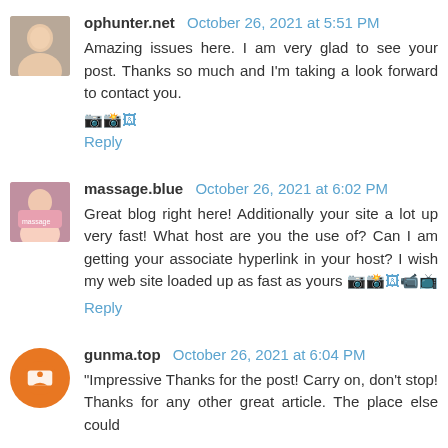ophunter.net  October 26, 2021 at 5:51 PM
Amazing issues here. I am very glad to see your post. Thanks so much and I'm taking a look forward to contact you.
🔲🔲🔲
Reply
massage.blue  October 26, 2021 at 6:02 PM
Great blog right here! Additionally your site a lot up very fast! What host are you the use of? Can I am getting your associate hyperlink in your host? I wish my web site loaded up as fast as yours 🔲🔲🔲🔲🔲
Reply
gunma.top  October 26, 2021 at 6:04 PM
"Impressive Thanks for the post! Carry on, don't stop! Thanks for any other great article. The place else could